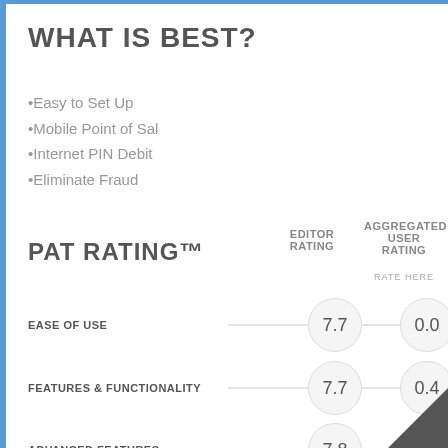WHAT IS BEST?
Easy to Set Up
Mobile Point of Sal
Internet PIN Debit
Eliminate Fraud
PAT RATING™
EDITOR RATING
AGGREGATED USER RATING
RATE HERE
EASE OF USE  7.7  0.0
FEATURES & FUNCTIONALITY  7.7  0.4
ADVANCED FEATURES  7.8  5.5